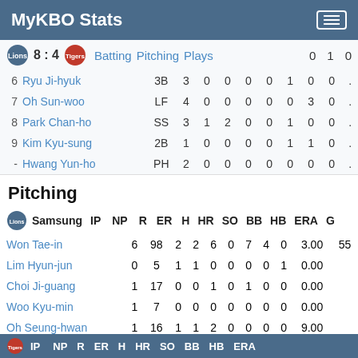MyKBO Stats
| # | Player | Pos | AB | R | H | RBI | BB | K | SB | AVG |
| --- | --- | --- | --- | --- | --- | --- | --- | --- | --- | --- |
| 6 | Ryu Ji-hyuk | 3B | 3 | 0 | 0 | 0 | 0 | 1 | 0 | 0 |
| 7 | Oh Sun-woo | LF | 4 | 0 | 0 | 0 | 0 | 0 | 3 | 0 |
| 8 | Park Chan-ho | SS | 3 | 1 | 2 | 0 | 0 | 1 | 0 | 0 |
| 9 | Kim Kyu-sung | 2B | 1 | 0 | 0 | 0 | 0 | 1 | 1 | 0 |
| - | Hwang Yun-ho | PH | 2 | 0 | 0 | 0 | 0 | 0 | 0 | 0 |
Pitching
| Player | IP | NP | R | ER | H | HR | SO | BB | HB | ERA | GS |
| --- | --- | --- | --- | --- | --- | --- | --- | --- | --- | --- | --- |
| Won Tae-in | 6 | 98 | 2 | 2 | 6 | 0 | 7 | 4 | 0 | 3.00 | 55 |
| Lim Hyun-jun | 0 | 5 | 1 | 1 | 0 | 0 | 0 | 0 | 1 | 0.00 |  |
| Choi Ji-guang | 1 | 17 | 0 | 0 | 1 | 0 | 1 | 0 | 0 | 0.00 |  |
| Woo Kyu-min | 1 | 7 | 0 | 0 | 0 | 0 | 0 | 0 | 0 | 0.00 |  |
| Oh Seung-hwan | 1 | 16 | 1 | 1 | 2 | 0 | 0 | 0 | 0 | 9.00 |  |